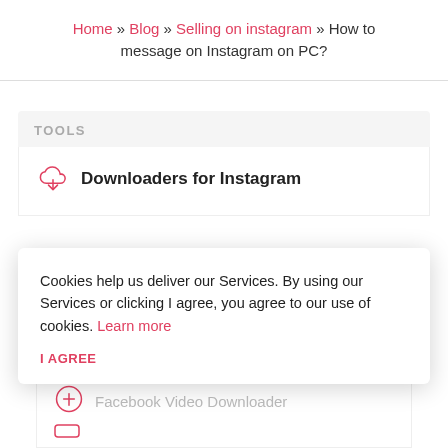Home » Blog » Selling on instagram » How to message on Instagram on PC?
TOOLS
Downloaders for Instagram
Cookies help us deliver our Services. By using our Services or clicking I agree, you agree to our use of cookies. Learn more
I AGREE
Facebook Video Downloader